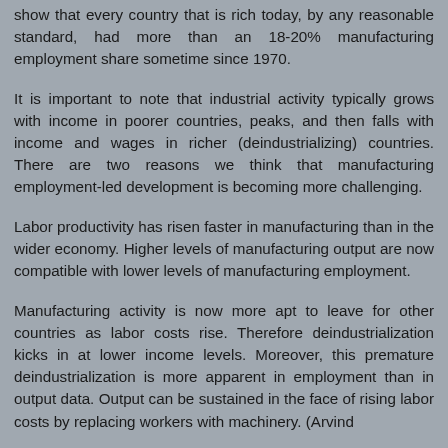show that every country that is rich today, by any reasonable standard, had more than an 18-20% manufacturing employment share sometime since 1970.
It is important to note that industrial activity typically grows with income in poorer countries, peaks, and then falls with income and wages in richer (deindustrializing) countries. There are two reasons we think that manufacturing employment-led development is becoming more challenging.
Labor productivity has risen faster in manufacturing than in the wider economy. Higher levels of manufacturing output are now compatible with lower levels of manufacturing employment.
Manufacturing activity is now more apt to leave for other countries as labor costs rise. Therefore deindustrialization kicks in at lower income levels. Moreover, this premature deindustrialization is more apparent in employment than in output data. Output can be sustained in the face of rising labor costs by replacing workers with machinery. (Arvind